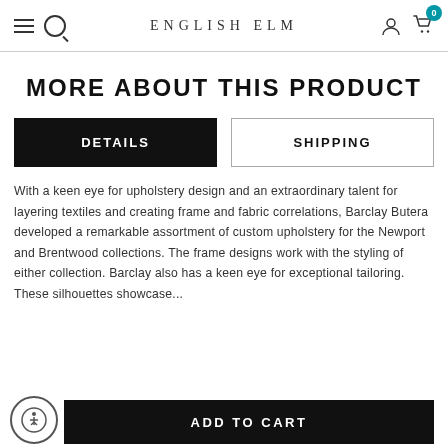ENGLISH ELM
MORE ABOUT THIS PRODUCT
DETAILS
SHIPPING
With a keen eye for upholstery design and an extraordinary talent for layering textiles and creating frame and fabric correlations, Barclay Butera developed a remarkable assortment of custom upholstery for the Newport and Brentwood collections. The frame designs work with the styling of either collection. Barclay also has a keen eye for exceptional tailoring. These silhouettes showcase...
ADD TO CART